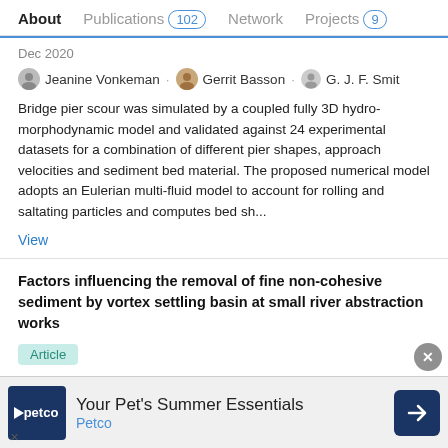About   Publications 102   Network   Projects 9
Dec 2020
Jeanine Vonkeman · Gerrit Basson · G. J. F. Smit
Bridge pier scour was simulated by a coupled fully 3D hydro-morphodynamic model and validated against 24 experimental datasets for a combination of different pier shapes, approach velocities and sediment bed material. The proposed numerical model adopts an Eulerian multi-fluid model to account for rolling and saltating particles and computes bed sh...
View
Factors influencing the removal of fine non-cohesive sediment by vortex settling basin at small river abstraction works
Article
Dec 2020
Advertisement
[Figure (screenshot): Petco advertisement banner: 'Your Pet's Summer Essentials' with Petco logo and navigation arrow icon]